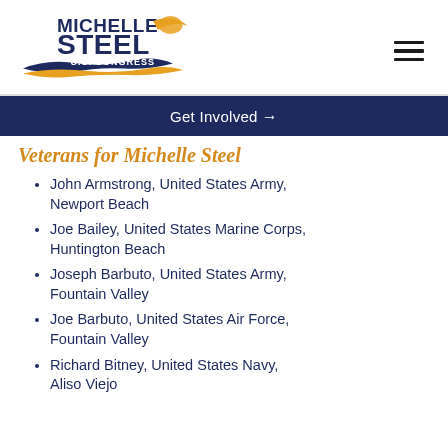[Figure (logo): Michelle Steel U.S. Congress campaign logo with navy blue text and gold/orange swoosh design]
Get Involved →
Veterans for Michelle Steel
John Armstrong, United States Army, Newport Beach
Joe Bailey, United States Marine Corps, Huntington Beach
Joseph Barbuto, United States Army, Fountain Valley
Joe Barbuto, United States Air Force, Fountain Valley
Richard Bitney, United States Navy, Aliso Viejo